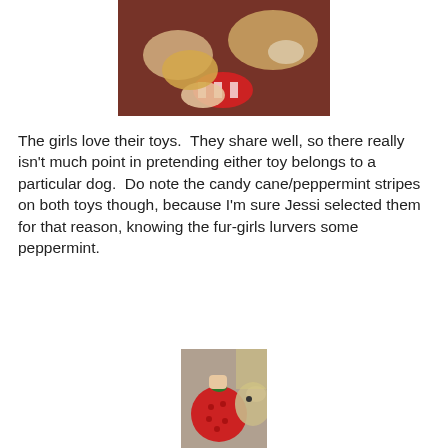[Figure (photo): Two dogs sharing toys with candy cane/peppermint stripes on a red background, with a human hand visible]
The girls love their toys.  They share well, so there really isn't much point in pretending either toy belongs to a particular dog.  Do note the candy cane/peppermint stripes on both toys though, because I'm sure Jessi selected them for that reason, knowing the fur-girls lurvers some peppermint.
[Figure (photo): A dog with a round red toy resembling a Christmas ornament or strawberry, held by a hand]